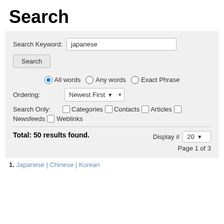Search
Search Keyword: japanese
Search
All words  Any words  Exact Phrase
Ordering: Newest First
Search Only: Categories  Contacts  Articles
Newsfeeds  Weblinks
Total: 50 results found.   Display # 20   Page 1 of 3
1. Japanese | Chinese | Korean